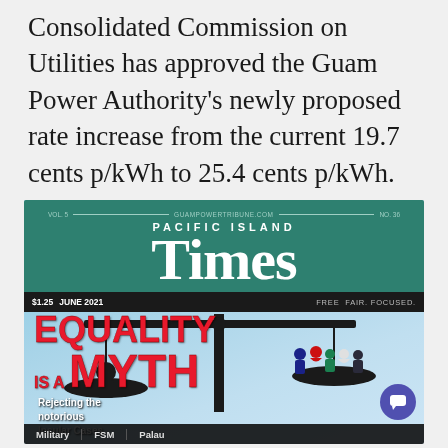Consolidated Commission on Utilities has approved the Guam Power Authority's newly proposed rate increase from the current 19.7 cents p/kWh to 25.4 cents p/kWh.
[Figure (photo): Cover of Pacific Island Times magazine, June 2021, $1.25. Features a scale of justice illustration with headline 'EQUALITY IS A MYTH — Rejecting the notorious Insular Cases'. One side of the scale has a lone figure, the other has a group of diverse people. Tagline: 'Free. Fair. Focused.']